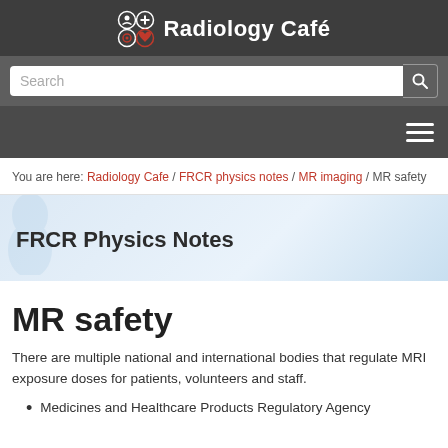Radiology Café
Search
You are here: Radiology Cafe / FRCR physics notes / MR imaging / MR safety
FRCR Physics Notes
MR safety
There are multiple national and international bodies that regulate MRI exposure doses for patients, volunteers and staff.
Medicines and Healthcare Products Regulatory Agency